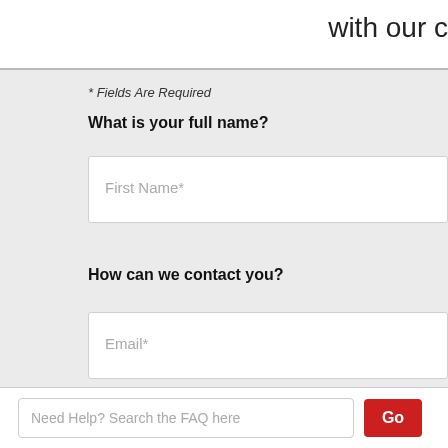with our c
* Fields Are Required
What is your full name?
First Name*
How can we contact you?
Email*
Phone Number*
What is your preferred method of communication?
Text Message
Need Help? Search the FAQ here
Go